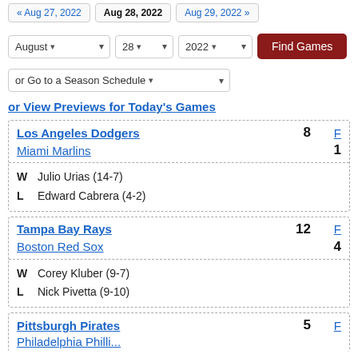« Aug 27, 2022   Aug 28, 2022   Aug 29, 2022 »
August 28 2022 — Find Games
or Go to a Season Schedule
or View Previews for Today's Games
| Team | Score |  |
| --- | --- | --- |
| Los Angeles Dodgers | 8 | F |
| Miami Marlins | 1 |  |
| W  Julio Urias (14-7) |  |  |
| L  Edward Cabrera (4-2) |  |  |
| Team | Score |  |
| --- | --- | --- |
| Tampa Bay Rays | 12 | F |
| Boston Red Sox | 4 |  |
| W  Corey Kluber (9-7) |  |  |
| L  Nick Pivetta (9-10) |  |  |
| Team | Score |  |
| --- | --- | --- |
| Pittsburgh Pirates | 5 | F |